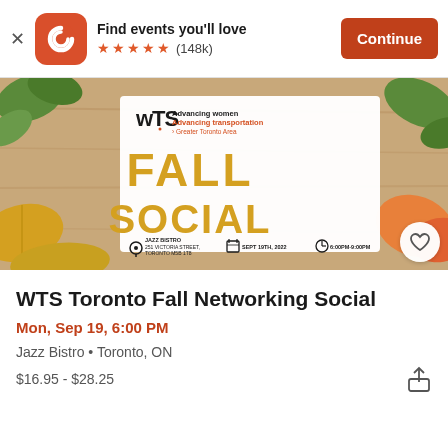Find events you'll love ★★★★★ (148k) Continue
[Figure (photo): WTS Toronto Fall Networking Social event banner with autumn leaves, showing FALL SOCIAL text in gold/yellow, WTS logo, Jazz Bistro address 251 Victoria Street Toronto M5B 1T8, Sept 19th 2022, 6:00PM-9:00PM]
WTS Toronto Fall Networking Social
Mon, Sep 19, 6:00 PM
Jazz Bistro • Toronto, ON
$16.95 - $28.25